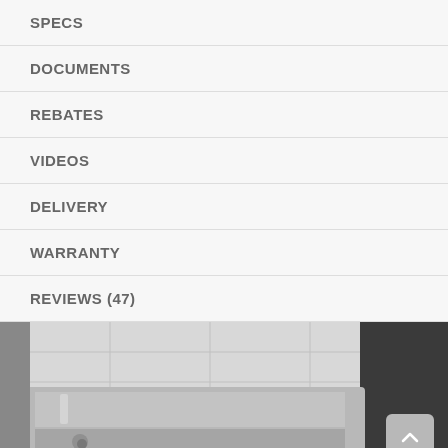SPECS
DOCUMENTS
REBATES
VIDEOS
DELIVERY
WARRANTY
REVIEWS (47)
[Figure (photo): Stainless steel kitchen sink or cookware on a countertop with white subway tile backsplash in the background]